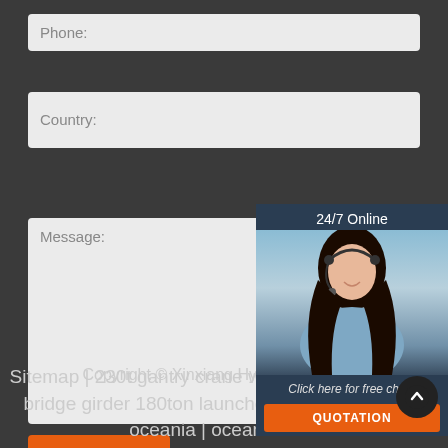Phone:
Country:
Message:
[Figure (illustration): 24/7 Online customer service widget with a woman wearing a headset, and a 'Click here for free chat!' label with a QUOTATION button]
Submit Now
Copyright © Xinxiang Hy Crane Co., Ltd
Sitemap | 230t gantry crane wide range uses | bridge girder 180ton launcher crane dealer oceania | oceanic